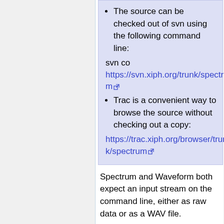The source can be checked out of svn using the following command line:
svn co https://svn.xiph.org/trunk/spectrum
Trac is a convenient way to browse the source without checking out a copy:
https://trac.xiph.org/browser/trunk/spectrum
Spectrum and Waveform both expect an input stream on the command line, either as raw data or as a WAV file.
GTK-Bounce
The touch-controlled application used in